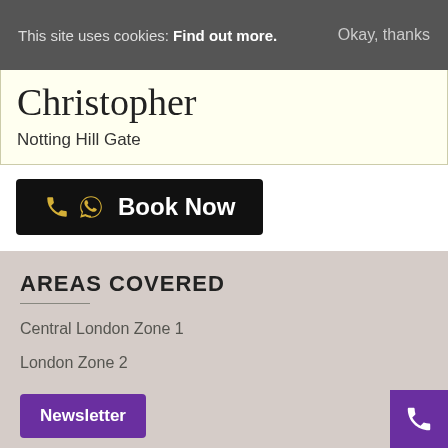This site uses cookies: Find out more. Okay, thanks
Christopher
Notting Hill Gate
Book Now
AREAS COVERED
Central London Zone 1
London Zone 2
Newsletter